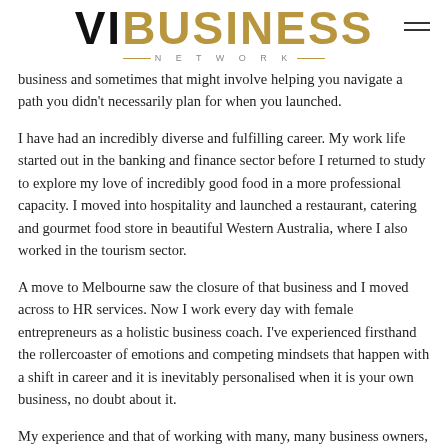VIB BUSINESS NETWORK
business and sometimes that might involve helping you navigate a path you didn't necessarily plan for when you launched.
I have had an incredibly diverse and fulfilling career. My work life started out in the banking and finance sector before I returned to study to explore my love of incredibly good food in a more professional capacity. I moved into hospitality and launched a restaurant, catering and gourmet food store in beautiful Western Australia, where I also worked in the tourism sector.
A move to Melbourne saw the closure of that business and I moved across to HR services. Now I work every day with female entrepreneurs as a holistic business coach. I've experienced firsthand the rollercoaster of emotions and competing mindsets that happen with a shift in career and it is inevitably personalised when it is your own business, no doubt about it.
My experience and that of working with many, many business owners, these words have shown that the